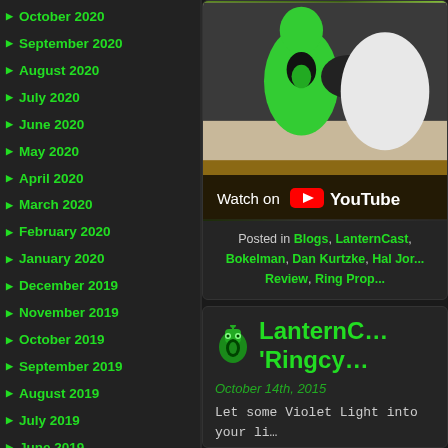October 2020
September 2020
August 2020
July 2020
June 2020
May 2020
April 2020
March 2020
February 2020
January 2020
December 2019
November 2019
October 2019
September 2019
August 2019
July 2019
June 2019
May 2019
April 2019
March 2019
February 2019
January 2019
December 2018
November 2018
[Figure (screenshot): YouTube video embed showing a Green Lantern figure/toy with Watch on YouTube overlay button]
Posted in Blogs, LanternCast, Bokelman, Dan Kurtzke, Hal Jor... Review, Ring Prop...
LanternC... 'Ringcy...
October 14th, 2015
Let some Violet Light into your li... with the Star Sapphire Power Ba... discuss another cool new prop... want to factor in Godhead, then...